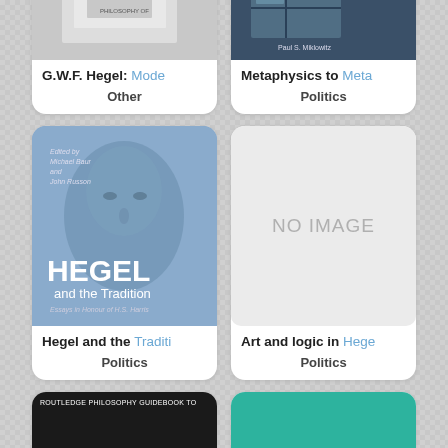[Figure (photo): Book cover: G.W.F. Hegel: Modern (truncated), grayscale cover]
G.W.F. Hegel: Mode…
Other
[Figure (photo): Book cover: Metaphysics to Meta… (truncated), dark blue cover with chair image, Paul S. Miklowitz]
Metaphysics to Meta…
Politics
[Figure (photo): Book cover: Hegel and the Tradition, Essays in Honour of H.S. Harris, edited by Michael Baur and John Russon, blue cover with Hegel portrait]
Hegel and the Traditi…
Politics
[Figure (photo): No image placeholder, light grey box with NO IMAGE text]
Art and logic in Hege…
Politics
[Figure (photo): Book cover: Routledge Philosophy Guidebook to … (truncated), dark cover]
[Figure (photo): Book cover: Hegel and Whitehead, teal/green cover]